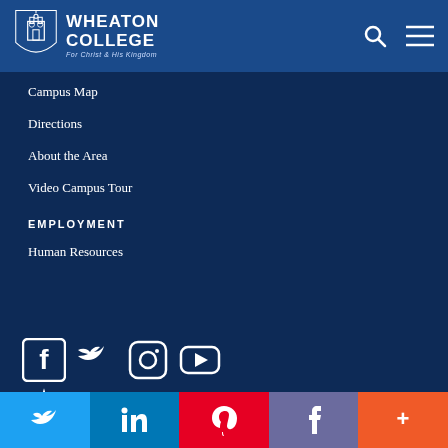Wheaton College - For Christ and His Kingdom
Campus Map
Directions
About the Area
Video Campus Tour
EMPLOYMENT
Human Resources
[Figure (infographic): Social media icons: Facebook, Twitter, Instagram, YouTube, and a star/badge icon, displayed in white on dark navy background]
[Figure (infographic): Share bar with Twitter (light blue), LinkedIn (dark blue), Pinterest (red), Facebook (purple), and More (orange) buttons]